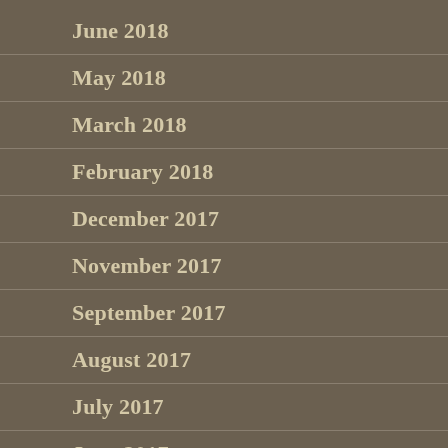June 2018
May 2018
March 2018
February 2018
December 2017
November 2017
September 2017
August 2017
July 2017
June 2017
May 2017